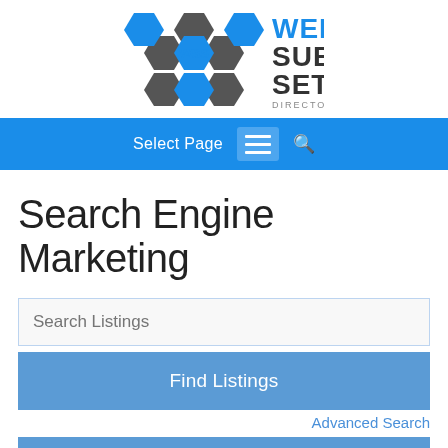[Figure (logo): Web Subset Directory logo: geometric hexagonal WSS icon in blue and dark grey, with text 'WEB SUB SET' in large bold letters (blue and dark) and 'DIRECTORY' below in grey]
Select Page [menu icon] [search icon]
Search Engine Marketing
Search Listings
Find Listings
Advanced Search
Directory